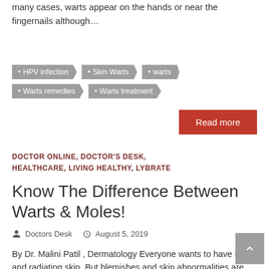many cases, warts appear on the hands or near the fingernails although…
HPV infection
Skin Warts
warts
Warts remedies
Warts treatment
Read more
DOCTOR ONLINE, DOCTOR'S DESK, HEALTHCARE, LIVING HEALTHY, LYBRATE
Know The Difference Between Warts & Moles!
Doctors Desk   August 5, 2019
By Dr. Malini Patil , Dermatology Everyone wants to have bright and radiating skin. But blemishes and skin abnormalities are common and can occur due to lifestyle, diet or hormonal imbalances. Moles and warts are typical skin